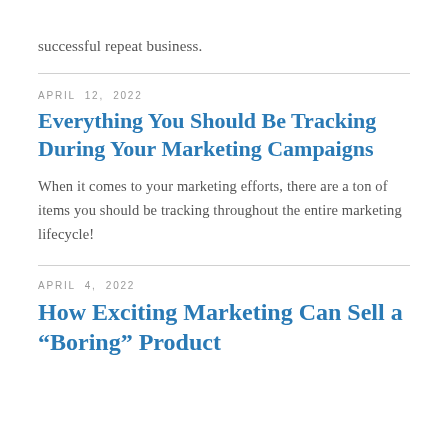successful repeat business.
APRIL  12,  2022
Everything You Should Be Tracking During Your Marketing Campaigns
When it comes to your marketing efforts, there are a ton of items you should be tracking throughout the entire marketing lifecycle!
APRIL  4,  2022
How Exciting Marketing Can Sell a “Boring” Product